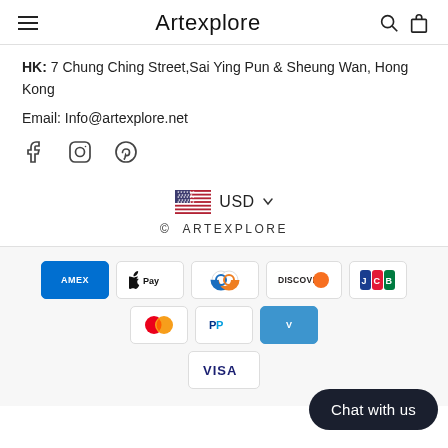Artexplore
HK: 7 Chung Ching Street,Sai Ying Pun & Sheung Wan, Hong Kong
Email: Info@artexplore.net
[Figure (other): Social media icons: Facebook, Instagram, Pinterest]
[Figure (other): US flag icon with USD currency selector dropdown]
© ARTEXPLORE
[Figure (other): Payment method icons: Amex, Apple Pay, Diners Club, Discover, JCB, Mastercard, PayPal, Venmo, Visa]
Chat with us